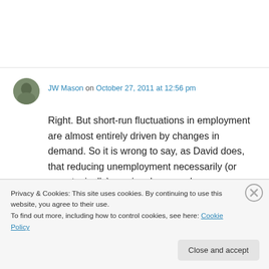JW Mason on October 27, 2011 at 12:56 pm
Right. But short-run fluctuations in employment are almost entirely driven by changes in demand. So it is wrong to say, as David does, that reducing unemployment necessarily (or even typically) requires lower real wages.
Like
Privacy & Cookies: This site uses cookies. By continuing to use this website, you agree to their use.
To find out more, including how to control cookies, see here: Cookie Policy
Close and accept